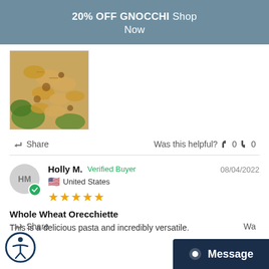20% OFF GNOCCHI Shop Now
[Figure (photo): Photo of pasta dish with farfalle/orecchiette pasta, broccoli, and meat sauce on a plate]
Share   Was this helpful?  👍 0  👎 0
Holly M.  Verified Buyer  08/04/2022  United States  ★★★★★
Whole Wheat Orecchiette
This is a delicious pasta and incredibly versatile.
Share   Wa...